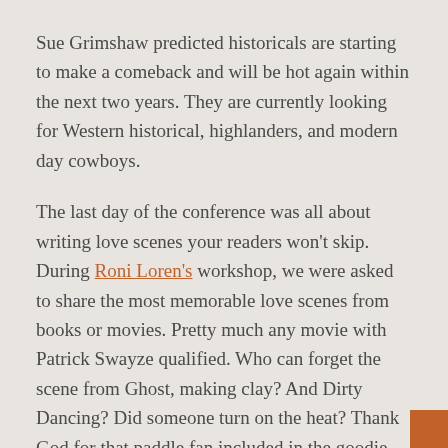Sue Grimshaw predicted historicals are starting to make a comeback and will be hot again within the next two years. They are currently looking for Western historical, highlanders, and modern day cowboys.
The last day of the conference was all about writing love scenes your readers won't skip. During Roni Loren's workshop, we were asked to share the most memorable love scenes from books or movies. Pretty much any movie with Patrick Swayze qualified. Who can forget the scene from Ghost, making clay? And Dirty Dancing? Did someone turn on the heat? Thank God for that paddle fan included in the goodie bags. Whew!